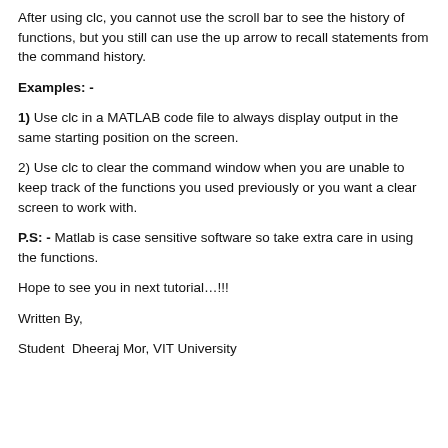After using clc, you cannot use the scroll bar to see the history of functions, but you still can use the up arrow to recall statements from the command history.
Examples: -
1) Use clc in a MATLAB code file to always display output in the same starting position on the screen.
2) Use clc to clear the command window when you are unable to keep track of the functions you used previously or you want a clear screen to work with.
P.S: - Matlab is case sensitive software so take extra care in using the functions.
Hope to see you in next tutorial…!!!
Written By,
Student  Dheeraj Mor, VIT University